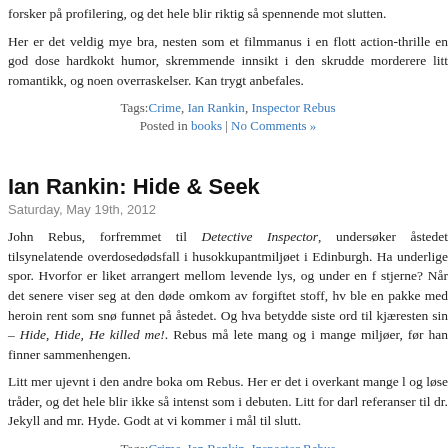forsker på profilering, og det hele blir riktig så spennende mot slutten.
Her er det veldig mye bra, nesten som et filmmanus i en flott action-thriller, en god dose hardkokt humor, skremmende innsikt i den skrudde morderens litt romantikk, og noen overraskelser. Kan trygt anbefales.
Tags: Crime, Ian Rankin, Inspector Rebus
Posted in books | No Comments »
Ian Rankin: Hide & Seek
Saturday, May 19th, 2012
John Rebus, forfremmet til Detective Inspector, undersøker åstedet tilsynelatende overdosedødsfall i husokkupantmiljøet i Edinburgh. Ha underlige spor. Hvorfor er liket arrangert mellom levende lys, og under en f stjerne? Når det senere viser seg at den døde omkom av forgiftet stoff, hv ble en pakke med heroin rent som snø funnet på åstedet. Og hva betydde siste ord til kjæresten sin – Hide, Hide, He killed me!. Rebus må lete mang og i mange miljøer, før han finner sammenhengen.
Litt mer ujevnt i den andre boka om Rebus. Her er det i overkant mange l og løse tråder, og det hele blir ikke så intenst som i debuten. Litt for darl referanser til dr. Jekyll and mr. Hyde. Godt at vi kommer i mål til slutt.
Tags: Crime, Ian Rankin, Inspector Rebus
Posted in books | No Comments »